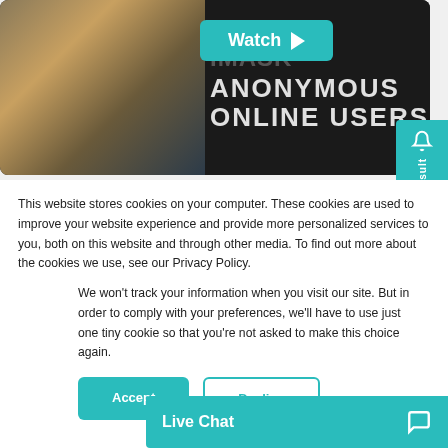[Figure (screenshot): Video banner showing a woman with blonde hair in a teal dress, with text overlay reading 'IMASK ANONYMOUS ONLINE USERS' on dark background, and a teal 'Watch ▷' button]
This website stores cookies on your computer. These cookies are used to improve your website experience and provide more personalized services to you, both on this website and through other media. To find out more about the cookies we use, see our Privacy Policy.
We won't track your information when you visit our site. But in order to comply with your preferences, we'll have to use just one tiny cookie so that you're not asked to make this choice again.
Accept
Decline
Most lawyers recor
Live Chat